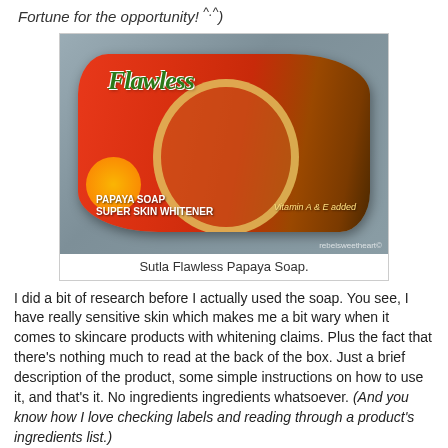Fortune for the opportunity! ^.^)
[Figure (photo): Sutla Flawless Papaya Soap product photo showing a red pillow-box packaging with 'Flawless' brand name in green text, papaya soap visible through window, 'PAPAYA SOAP SUPER SKIN WHITENER' label, 'Vitamin A & E added' text, watermark 'rebelsweetheart©']
Sutla Flawless Papaya Soap.
I did a bit of research before I actually used the soap. You see, I have really sensitive skin which makes me a bit wary when it comes to skincare products with whitening claims. Plus the fact that there's nothing much to read at the back of the box. Just a brief description of the product, some simple instructions on how to use it, and that's it. No ingredients ingredients whatsoever. (And you know how I love checking labels and reading through a product's ingredients list.)
[Figure (photo): Partial view of the bottom of another Sutla Flawless Papaya Soap product box, showing the red packaging on a wooden surface background.]